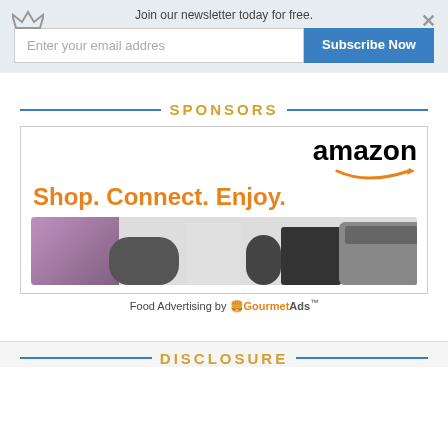Join our newsletter today for free.
Enter your email addres
Subscribe Now
SPONSORS
[Figure (illustration): Amazon advertisement banner with text 'Shop. Connect. Enjoy.' and product images including a purple bag, gaming controller, speaker, and kitchen appliance]
Food Advertising by GourmetAds
DISCLOSURE